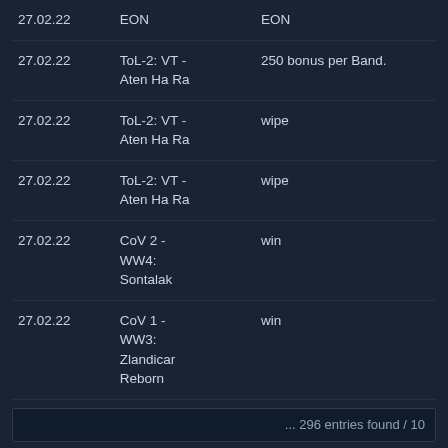| Date | Event | Result |
| --- | --- | --- |
| 27.02.22 | EON | EON |
| 27.02.22 | ToL-2: VT - Aten Ha Ra | 250 bonus per Band. |
| 27.02.22 | ToL-2: VT - Aten Ha Ra | wipe |
| 27.02.22 | ToL-2: VT - Aten Ha Ra | wipe |
| 27.02.22 | CoV 2 - WW4: Sontalak | win |
| 27.02.22 | CoV 1 - WW3: Zlandicar Reborn | win |
... 296 entries found / 10
1 2 3 »